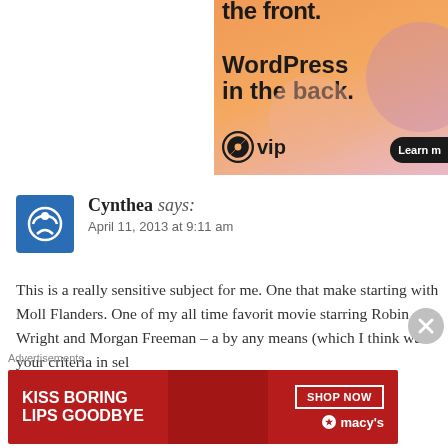[Figure (screenshot): WordPress VIP advertisement banner showing 'WordPress in the back.' text with WP logo and 'Learn more' button on an orange gradient background]
Cynthea says: April 11, 2013 at 9:11 am
This is a really sensitive subject for me. One that make starting with Moll Flanders. One of my all time favorit movie starring Robin Wright and Morgan Freeman – a by any means (which I think was your criteria in sel
Advertisements
[Figure (screenshot): Macy's advertisement banner with 'KISS BORING LIPS GOODBYE' text, woman's face, SHOP NOW button and Macy's star logo on red background]